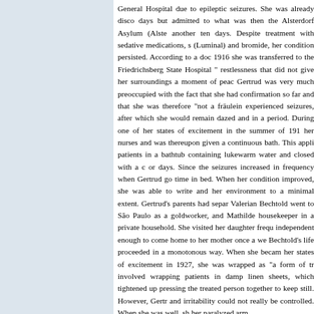General Hospital due to epileptic seizures. She was already disco days but admitted to what was then the Alsterdorf Asylum (Alste another ten days. Despite treatment with sedative medications, s (Luminal) and bromide, her condition persisted. According to a doc 1916 she was transferred to the Friedrichsberg State Hospital " restlessness that did not give her surroundings a moment of peac Gertrud was very much preoccupied with the fact that she had confirmation so far and that she was therefore "not a fräulein experienced seizures, after which she would remain dazed and in a period. During one of her states of excitement in the summer of 191 her nurses and was thereupon given a continuous bath. This appli patients in a bathtub containing lukewarm water and closed with a c or days. Since the seizures increased in frequency when Gertrud go time in bed. When her condition improved, she was able to write and her environment to a minimal extent. Gertrud's parents had separ Valerian Bechtold went to São Paulo as a goldworker, and Mathilde housekeeper in a private household. She visited her daughter frequ independent enough to come home to her mother once a we Bechtold's life proceeded in a monotonous way. When she becam her states of excitement in 1927, she was wrapped as "a form of tr involved wrapping patients in damp linen sheets, which tightened up pressing the treated person together to keep still. However, Gertr and irritability could not really be controlled. When she was well, sh her paralyzed arm.